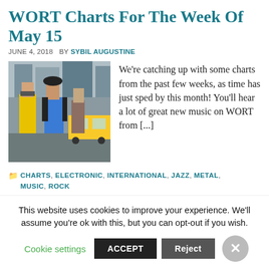WORT Charts For The Week Of May 15
JUNE 4, 2018  BY SYBIL AUGUSTINE
[Figure (photo): Photo of three young people walking on a city street, one woman in a blue dress and black hat in the center, a man in a yellow shirt on the left, with yellow taxis in the background.]
We're catching up with some charts from the past few weeks, as time has just sped by this month! You'll hear a lot of great new music on WORT from [...]
CHARTS, ELECTRONIC, INTERNATIONAL, JAZZ, METAL, MUSIC, ROCK
ELECTRONIC DANCE MUSIC, GARAGE ROCK, HEAVY METAL, INDIE FOLK, INDIE ROCK, INTERNATIONAL MUSIC, JAZZ, LOUD ROCK, PUNK ROCK, ROCK, SOUL MUSIC, WORLD MUSIC
This website uses cookies to improve your experience. We'll assume you're ok with this, but you can opt-out if you wish.
Cookie settings  ACCEPT  Reject